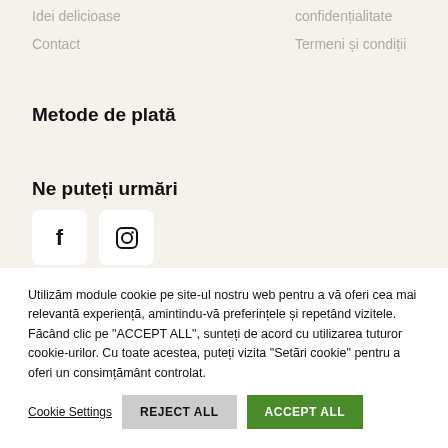Idei delicioase
confidențialitate
Contact
Termeni și condiții
Metode de plată
Ne puteți urmări
[Figure (other): Social media icons: Facebook and Instagram buttons]
Utilizăm module cookie pe site-ul nostru web pentru a vă oferi cea mai relevantă experiență, amintindu-vă preferințele și repetând vizitele. Făcând clic pe "ACCEPT ALL", sunteți de acord cu utilizarea tuturor cookie-urilor. Cu toate acestea, puteți vizita "Setări cookie" pentru a oferi un consimțământ controlat.
Cookie Settings | REJECT ALL | ACCEPT ALL